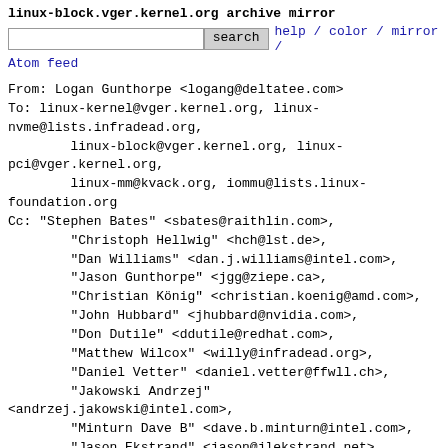linux-block.vger.kernel.org archive mirror
search  help / color / mirror /
Atom feed
From: Logan Gunthorpe <logang@deltatee.com>
To: linux-kernel@vger.kernel.org, linux-nvme@lists.infradead.org,
        linux-block@vger.kernel.org, linux-pci@vger.kernel.org,
        linux-mm@kvack.org, iommu@lists.linux-foundation.org
Cc: "Stephen Bates" <sbates@raithlin.com>,
        "Christoph Hellwig" <hch@lst.de>,
        "Dan Williams" <dan.j.williams@intel.com>,
        "Jason Gunthorpe" <jgg@ziepe.ca>,
        "Christian König" <christian.koenig@amd.com>,
        "John Hubbard" <jhubbard@nvidia.com>,
        "Don Dutile" <ddutile@redhat.com>,
        "Matthew Wilcox" <willy@infradead.org>,
        "Daniel Vetter" <daniel.vetter@ffwll.ch>,
        "Jakowski Andrzej"
<andrzej.jakowski@intel.com>,
        "Minturn Dave B" <dave.b.minturn@intel.com>,
        "Jason Ekstrand" <jason@jlekstrand.net>,
        "Dave Hansen" <dave.hansen@linux.intel.com>,
        "Xiong Jianxin" <jianxin.xiong@intel.com>,
        "Bjorn Helgaas" <helgaas@kernel.org>,
        "Ira Weiny" <ira.weiny@intel.com>,
        "Robin Murphy" <robin.murphy@arm.com>,